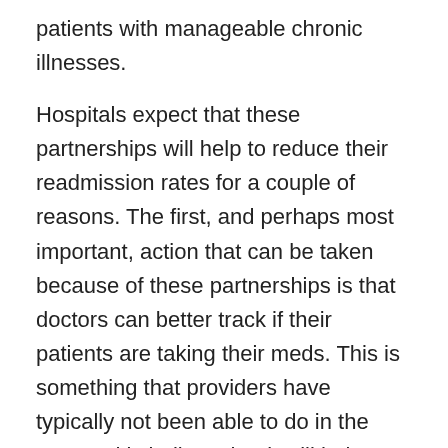patients with manageable chronic illnesses.
Hospitals expect that these partnerships will help to reduce their readmission rates for a couple of reasons. The first, and perhaps most important, action that can be taken because of these partnerships is that doctors can better track if their patients are taking their meds. This is something that providers have typically not been able to do in the past and is believe that it will help create better relationships between the providers and patients. These better relationships are expected to result in better disease management. And because CVS Minute Clinics will have access to patient information, more doctors will be suggesting that their patients visit these clinics to help manage their condition rather than coming back to the hospital when serious complications occur.